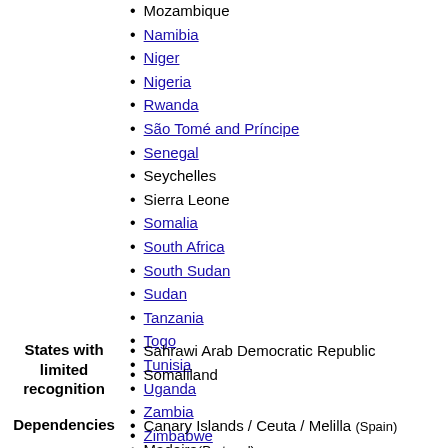Mozambique
Namibia
Niger
Nigeria
Rwanda
São Tomé and Príncipe
Senegal
Seychelles
Sierra Leone
Somalia
South Africa
South Sudan
Sudan
Tanzania
Togo
Tunisia
Uganda
Zambia
Zimbabwe
States with limited recognition
Sahrawi Arab Democratic Republic
Somaliland
Dependencies
Canary Islands / Ceuta / Melilla (Spain)
Madeira (Portugal)